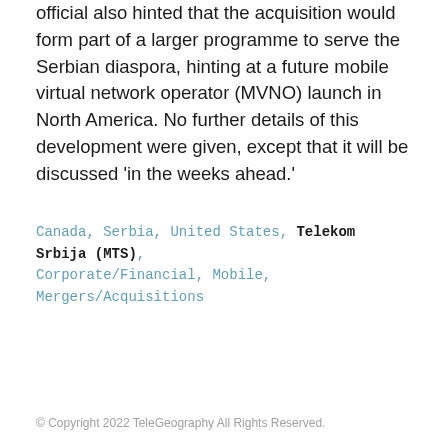official also hinted that the acquisition would form part of a larger programme to serve the Serbian diaspora, hinting at a future mobile virtual network operator (MVNO) launch in North America. No further details of this development were given, except that it will be discussed 'in the weeks ahead.'
Canada, Serbia, United States, Telekom Srbija (MTS), Corporate/Financial, Mobile, Mergers/Acquisitions
© Copyright 2022 TeleGeography All Rights Reserved.